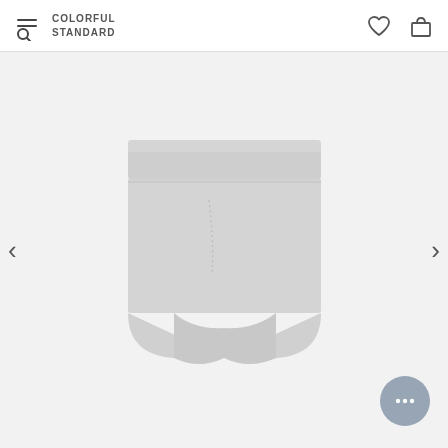COLORFUL STANDARD
[Figure (photo): Gray marl men's boxer briefs/trunks with elasticated waistband, displayed flat on a light gray background. The underwear is light gray/heather gray in color with a wide waistband and a classic trunk silhouette.]